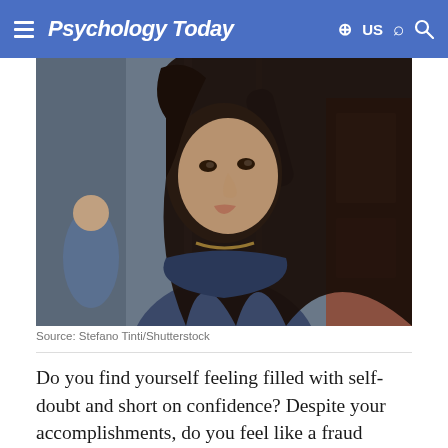Psychology Today  US
[Figure (photo): Young woman with long dark hair holding a rail on public transit, looking to the side with a pensive expression. She is wearing a denim jacket. Crowded transit background.]
Source: Stefano Tinti/Shutterstock
Do you find yourself feeling filled with self-doubt and short on confidence? Despite your accomplishments, do you feel like a fraud destined to be exposed? Do you feel that you don't deserve lasting love and that partners will inevitably leave